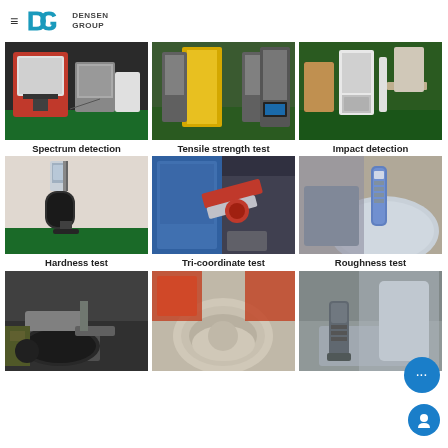[Figure (logo): Densen Group logo with hamburger menu icon, D and G letter mark in teal/blue, text DENSEN GROUP]
[Figure (photo): Spectrum detection equipment - laser/spectrometer machine in red and white in a lab with green floor]
Spectrum detection
[Figure (photo): Tensile strength test equipment - gray testing machines with yellow frame on green floor]
Tensile strength test
[Figure (photo): Impact detection equipment - white machine in lab with green floor]
Impact detection
[Figure (photo): Hardness test - Rockwell hardness tester with black base and digital display]
Hardness test
[Figure (photo): Tri-coordinate test - large blue CMM coordinate measuring machine with red parts]
Tri-coordinate test
[Figure (photo): Roughness test - handheld roughness tester held over polished metal bowl]
Roughness test
[Figure (photo): Worker inspecting or measuring a large cast iron part on a workbench]
[Figure (photo): Close-up of metalwork machining or finishing of a bowl-shaped part]
[Figure (photo): Measurement device placed on polished metal surface]